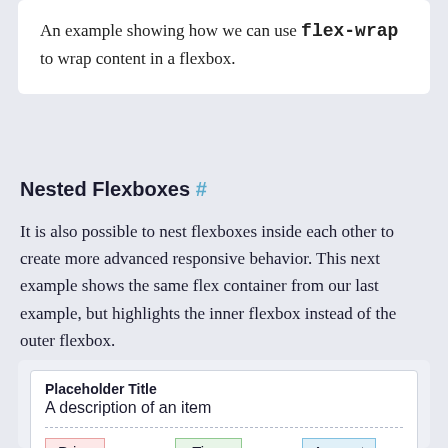An example showing how we can use flex-wrap to wrap content in a flexbox.
Nested Flexboxes #
It is also possible to nest flexboxes inside each other to create more advanced responsive behavior. This next example shows the same flex container from our last example, but highlights the inner flexbox instead of the outer flexbox.
[Figure (illustration): A demo card showing 'Placeholder Title', 'A description of an item', a dashed divider, and three colored tags: Price (pink), Time (green), Amount (blue)]